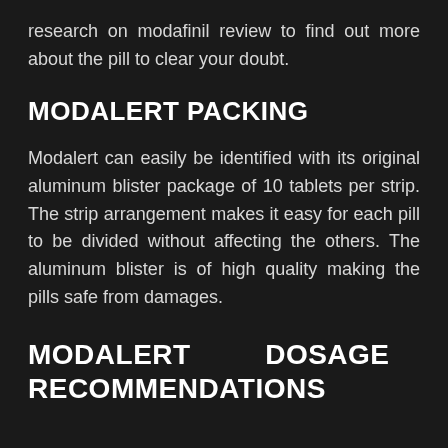research on modafinil review to find out more about the pill to clear your doubt.
MODALERT PACKING
Modalert can easily be identified with its original aluminum blister package of 10 tablets per strip. The strip arrangement makes it easy for each pill to be divided without affecting the others. The aluminum blister is of high quality making the pills safe from damages.
MODALERT DOSAGE AND RECOMMENDATIONS